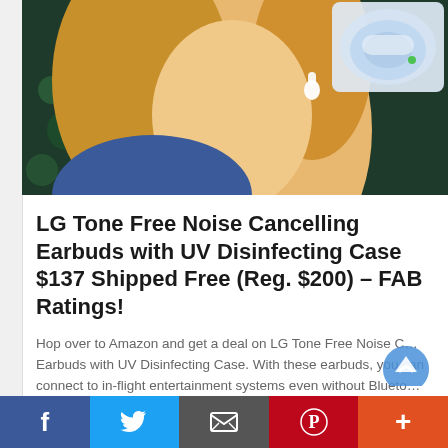[Figure (photo): Hero image showing a young blonde woman wearing white wireless earbuds, with a teal/dark background and a product shot of a white UV disinfecting case in the top right corner]
LG Tone Free Noise Cancelling Earbuds with UV Disinfecting Case $137 Shipped Free (Reg. $200) – FAB Ratings!
Hop over to Amazon and get a deal on LG Tone Free Noise Cancelling Earbuds with UV Disinfecting Case. With these earbuds, you can connect to in-flight entertainment systems even without Bluetooth capabilities. Get peace of mind with a UVnano charging case that kills 99% of bacteria on the speaker mesh and medical grade ear...
Continue reading...